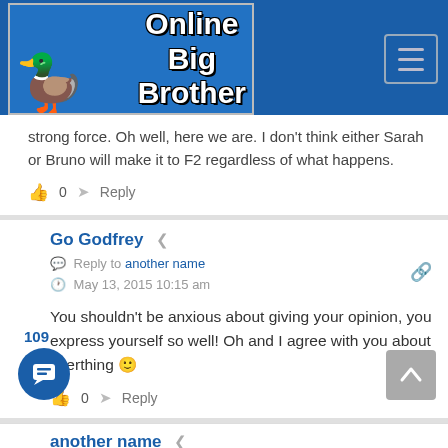Online Big Brother
strong force. Oh well, here we are. I don't think either Sarah or Bruno will make it to F2 regardless of what happens.
0  Reply
Go Godfrey
Reply to another name
May 13, 2015 10:15 am
You shouldn't be anxious about giving your opinion, you express yourself so well! Oh and I agree with you about everthing 🙂
0  Reply
another name